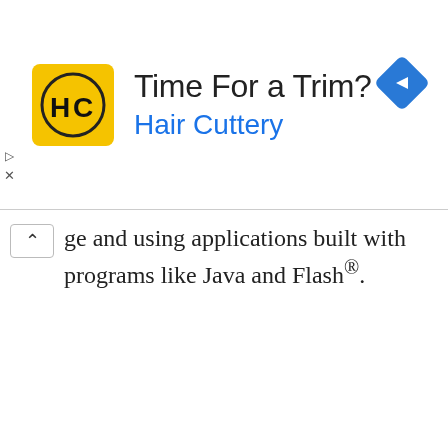[Figure (screenshot): Advertisement banner for Hair Cuttery with yellow logo showing 'HC', headline 'Time For a Trim?', brand name 'Hair Cuttery' in blue, and a blue navigation diamond icon on the right. Small play and close controls on the left side.]
ge and using applications built with programs like Java and Flash®.